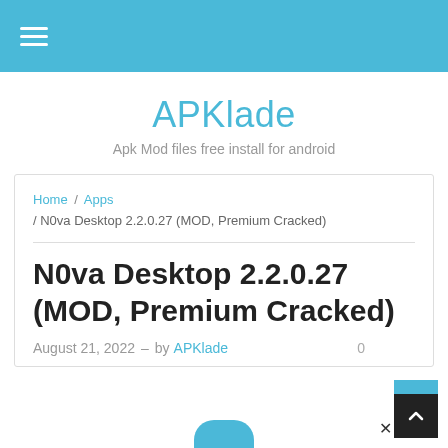☰ (hamburger menu)
APKlade
Apk Mod files free install for android
Home / Apps / N0va Desktop 2.2.0.27 (MOD, Premium Cracked)
N0va Desktop 2.2.0.27 (MOD, Premium Cracked)
August 21, 2022 – by APKlade